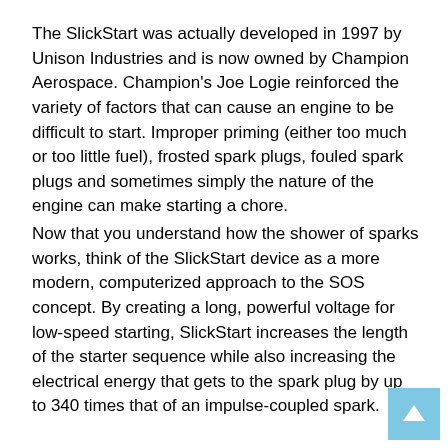The SlickStart was actually developed in 1997 by Unison Industries and is now owned by Champion Aerospace. Champion's Joe Logie reinforced the variety of factors that can cause an engine to be difficult to start. Improper priming (either too much or too little fuel), frosted spark plugs, fouled spark plugs and sometimes simply the nature of the engine can make starting a chore.
Now that you understand how the shower of sparks works, think of the SlickStart device as a more modern, computerized approach to the SOS concept. By creating a long, powerful voltage for low-speed starting, SlickStart increases the length of the starter sequence while also increasing the electrical energy that gets to the spark plug by up to 340 times that of an impulse-coupled spark.